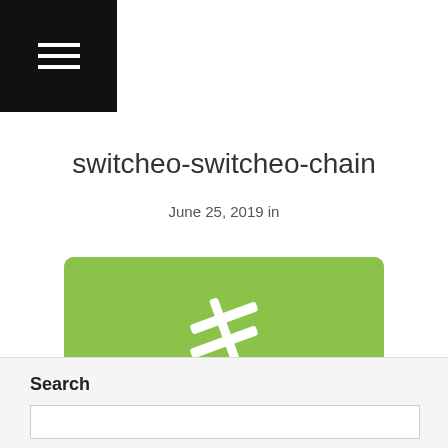Navigation menu icon
switcheo-switcheo-chain
June 25, 2019 in
[Figure (logo): Switcheo brand card with a not-equal/lightning bolt logo icon on green background, white label 'SWITCHEO' and text 'Switcheo Chain' below]
Search